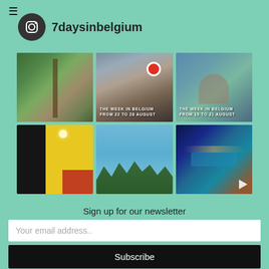[Figure (logo): Hamburger menu icon (three horizontal lines)]
[Figure (logo): Instagram icon circle with camera logo and username '7daysinbelgium']
[Figure (photo): Six Instagram photo thumbnails in a 3x2 grid. Top row: forest/wood structure, street scene with dogs and no-parking sign labelled 'THE WEEK IN BELGIUM FROM 22 TO 28 AUGUST', man seated outdoors labelled 'THE WEEK IN BELGIUM FROM 15 TO 21 AUGUST'. Bottom row: yellow and black room interior, blue sky with trees, night aerial view of illuminated waterway city.]
Sign up for our newsletter
Your email address..
Subscribe